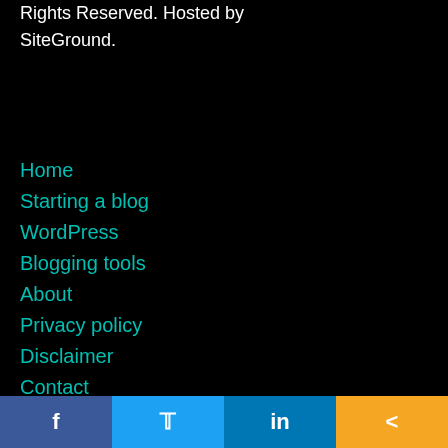Rights Reserved. Hosted by SiteGround.
Home
Starting a blog
WordPress
Blogging tools
About
Privacy policy
Disclaimer
Contact
Terms & conditions
Facebook | Twitter | LinkedIn | Share